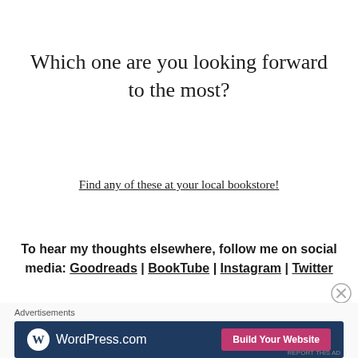Which one are you looking forward to the most?
Find any of these at your local bookstore!
To hear my thoughts elsewhere, follow me on social media: Goodreads | BookTube | Instagram | Twitter
Advertisements
[Figure (other): WordPress.com advertisement banner with logo on dark blue background and pink 'Build Your Website' button]